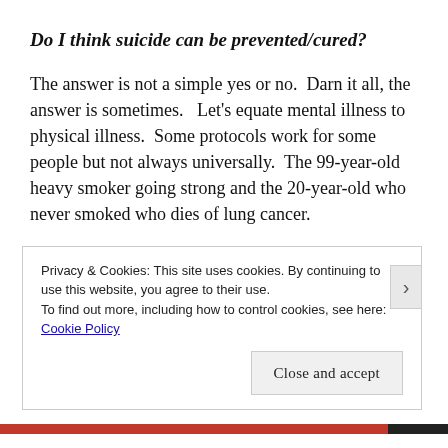Do I think suicide can be prevented/cured?
The answer is not a simple yes or no.  Darn it all, the answer is sometimes.   Let's equate mental illness to physical illness.  Some protocols work for some people but not always universally.  The 99-year-old heavy smoker going strong and the 20-year-old who never smoked who dies of lung cancer.
Unfortunately death by suicide will continue and the
Privacy & Cookies: This site uses cookies. By continuing to use this website, you agree to their use.
To find out more, including how to control cookies, see here:
Cookie Policy
Close and accept